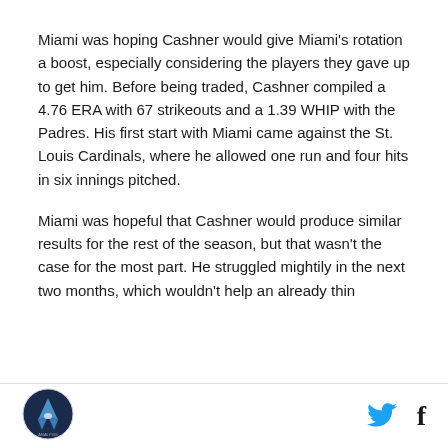Miami was hoping Cashner would give Miami's rotation a boost, especially considering the players they gave up to get him. Before being traded, Cashner compiled a 4.76 ERA with 67 strikeouts and a 1.39 WHIP with the Padres. His first start with Miami came against the St. Louis Cardinals, where he allowed one run and four hits in six innings pitched.
Miami was hopeful that Cashner would produce similar results for the rest of the season, but that wasn't the case for the most part. He struggled mightily in the next two months, which wouldn't help an already thin
[logo] [twitter] [facebook]